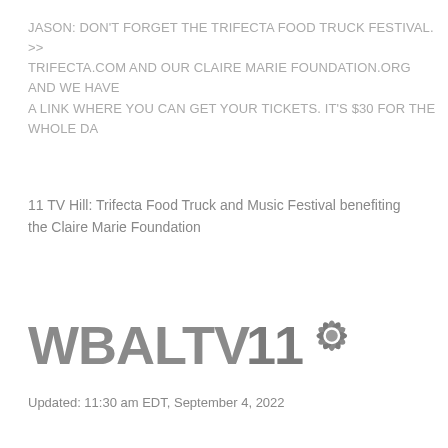JASON: DON'T FORGET THE TRIFECTA FOOD TRUCK FESTIVAL. >> TRIFECTA.COM AND OUR CLAIRE MARIE FOUNDATION.ORG AND WE HAVE A LINK WHERE YOU CAN GET YOUR TICKETS. IT'S $30 FOR THE WHOLE DA
11 TV Hill: Trifecta Food Truck and Music Festival benefiting the Claire Marie Foundation
[Figure (logo): WBAL TV 11 NBC logo in grey]
Updated: 11:30 am EDT, September 4, 2022